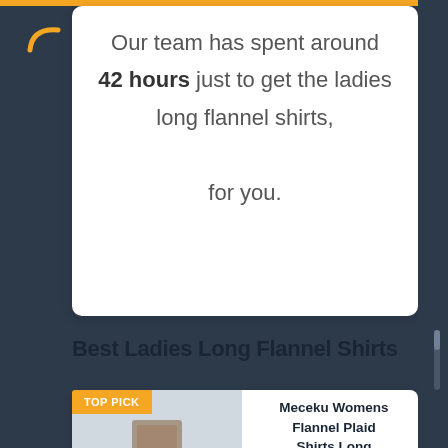Our team has spent around 42 hours just to get the ladies long flannel shirts, for you.
Best Ladies Long Flannel Shirts
TOP PICK
Meceku Womens Flannel Plaid Shirts Long